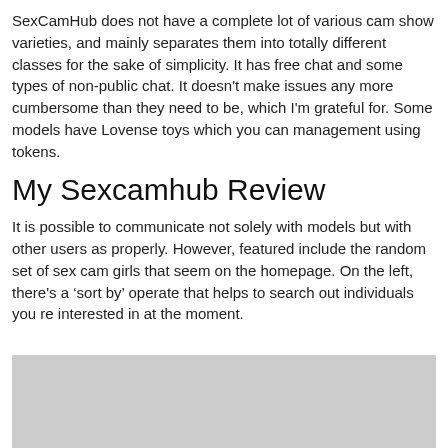SexCamHub does not have a complete lot of various cam show varieties, and mainly separates them into totally different classes for the sake of simplicity. It has free chat and some types of non-public chat. It doesn't make issues any more cumbersome than they need to be, which I'm grateful for. Some models have Lovense toys which you can management using tokens.
My Sexcamhub Review
It is possible to communicate not solely with models but with other users as properly. However, featured include the random set of sex cam girls that seem on the homepage. On the left, there's a ‘sort by’ operate that helps to search out individuals you re interested in at the moment.
[Figure (photo): Gray placeholder image at the bottom of the page]